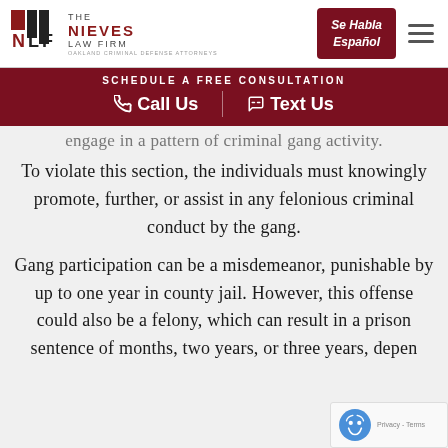[Figure (logo): The Nieves Law Firm logo with NLF icon, tagline: OAKLAND CRIMINAL DEFENSE ATTORNEYS]
Se Habla Español
SCHEDULE A FREE CONSULTATION
Call Us   Text Us
engage in a pattern of criminal gang activity.
To violate this section, the individuals must knowingly promote, further, or assist in any felonious criminal conduct by the gang.
Gang participation can be a misdemeanor, punishable by up to one year in county jail. However, this offense could also be a felony, which can result in a prison sentence of months, two years, or three years, depen